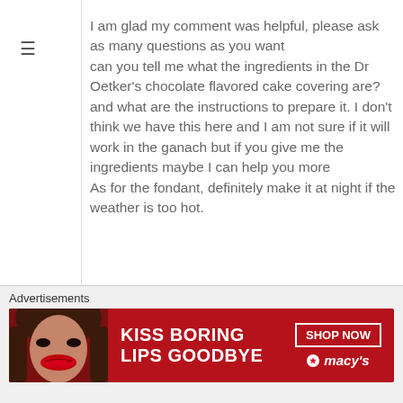I am glad my comment was helpful, please ask as many questions as you want can you tell me what the ingredients in the Dr Oetker's chocolate flavored cake covering are? and what are the instructions to prepare it. I don't think we have this here and I am not sure if it will work in the ganach but if you give me the ingredients maybe I can help you more As for the fondant, definitely make it at night if the weather is too hot.
Advertisements
[Figure (photo): Macy's advertisement banner with red background showing 'KISS BORING LIPS GOODBYE' text, a woman's face, and 'SHOP NOW' button with Macy's star logo]